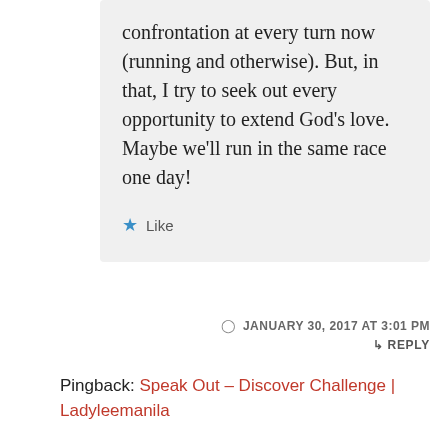confrontation at every turn now (running and otherwise). But, in that, I try to seek out every opportunity to extend God’s love. Maybe we’ll run in the same race one day!
★ Like
JANUARY 30, 2017 AT 3:01 PM
↳ REPLY
Pingback: Speak Out – Discover Challenge | Ladyleemanila